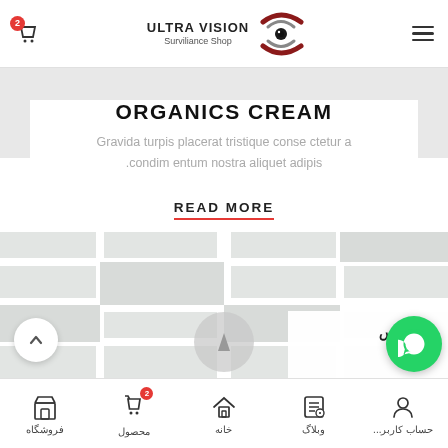ULTRA VISION Surviliance Shop
ORGANICS CREAM
Gravida turpis placerat tristique conse ctetur a condim entum nostra aliquet adipis.
READ MORE
[Figure (map): Gray map area with scroll-up button, play/navigation button overlay, sales advisor text box in Persian (کارشناس فروش), and WhatsApp green button]
فروشگاه | محصول | خانه | وبلاگ | حساب کاربر...